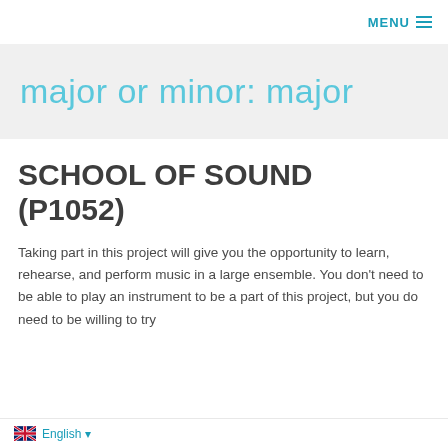MENU
major or minor: major
SCHOOL OF SOUND (P1052)
Taking part in this project will give you the opportunity to learn, rehearse, and perform music in a large ensemble. You don't need to be able to play an instrument to be a part of this project, but you do need to be willing to try
English ▾